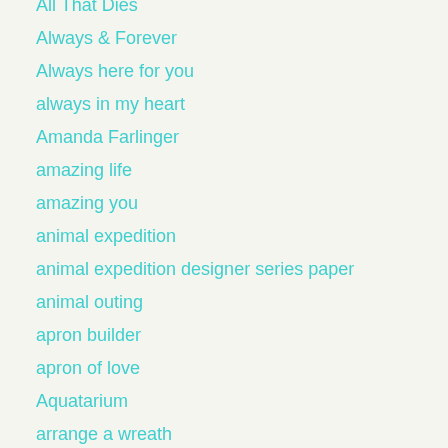All That Dies
Always & Forever
Always here for you
always in my heart
Amanda Farlinger
amazing life
amazing you
animal expedition
animal expedition designer series paper
animal outing
apron builder
apron of love
Aquatarium
arrange a wreath